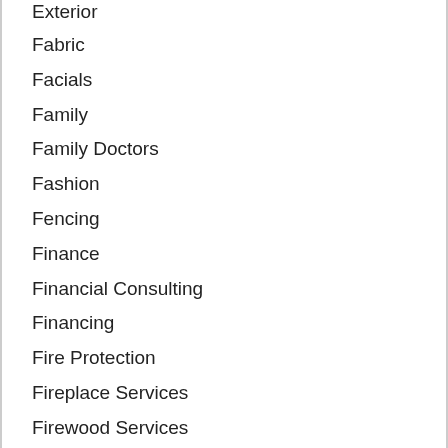Exterior
Fabric
Facials
Family
Family Doctors
Fashion
Fencing
Finance
Financial Consulting
Financing
Fire Protection
Fireplace Services
Firewood Services
Fishing
Fishing Related
Fitness